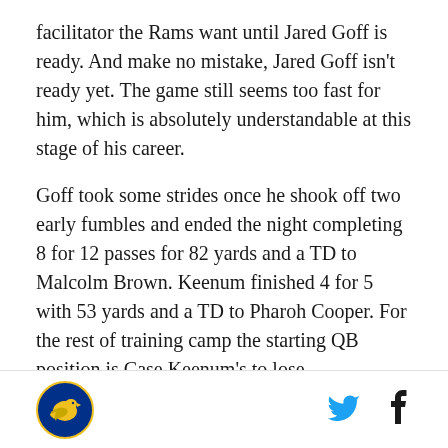facilitator the Rams want until Jared Goff is ready. And make no mistake, Jared Goff isn't ready yet. The game still seems too fast for him, which is absolutely understandable at this stage of his career.
Goff took some strides once he shook off two early fumbles and ended the night completing 8 for 12 passes for 82 yards and a TD to Malcolm Brown. Keenum finished 4 for 5 with 53 yards and a TD to Pharoh Cooper. For the rest of training camp the starting QB position is Case Keenum's to lose.
Running Backs
The Rams are stacked at RB, folks. I said the same
[Figure (logo): LA Rams logo — yellow/gold bird on blue circular background]
[Figure (logo): Twitter bird icon in blue]
[Figure (logo): Facebook f icon in dark blue/black]